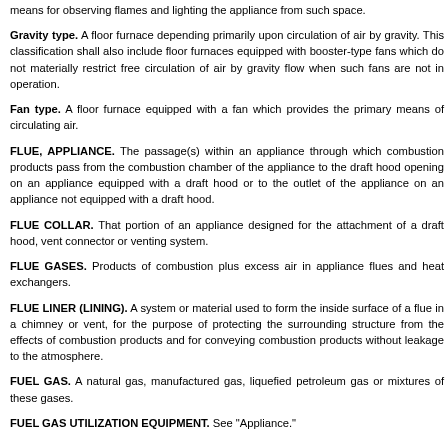means for observing flames and lighting the appliance from such space.
Gravity type. A floor furnace depending primarily upon circulation of air by gravity. This classification shall also include floor furnaces equipped with booster-type fans which do not materially restrict free circulation of air by gravity flow when such fans are not in operation.
Fan type. A floor furnace equipped with a fan which provides the primary means of circulating air.
FLUE, APPLIANCE. The passage(s) within an appliance through which combustion products pass from the combustion chamber of the appliance to the draft hood opening on an appliance equipped with a draft hood or to the outlet of the appliance on an appliance not equipped with a draft hood.
FLUE COLLAR. That portion of an appliance designed for the attachment of a draft hood, vent connector or venting system.
FLUE GASES. Products of combustion plus excess air in appliance flues and heat exchangers.
FLUE LINER (LINING). A system or material used to form the inside surface of a flue in a chimney or vent, for the purpose of protecting the surrounding structure from the effects of combustion products and for conveying combustion products without leakage to the atmosphere.
FUEL GAS. A natural gas, manufactured gas, liquefied petroleum gas or mixtures of these gases.
FUEL GAS UTILIZATION EQUIPMENT. See "Appliance."